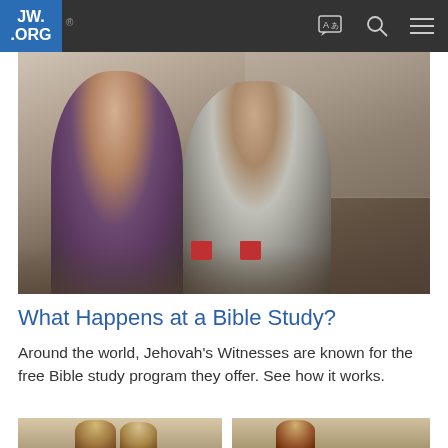JW.ORG
[Figure (photo): Two women sitting on a couch, one in a purple top showing a book or tablet to the other in a striped top, in a living room setting with red cups on the floor.]
What Happens at a Bible Study?
Around the world, Jehovah's Witnesses are known for the free Bible study program they offer. See how it works.
[Figure (photo): Two women with long hair facing each other in conversation, partial view.]
[Figure (photo): A woman with long hair, partial view from behind.]